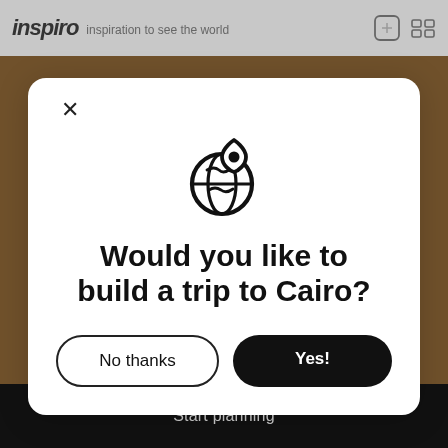inspiro · inspiration to see the world
[Figure (screenshot): Modal dialog on a travel inspiration app asking user if they would like to build a trip to Cairo, with a globe and location pin icon, a 'No thanks' button, and a 'Yes!' button]
Would you like to build a trip to Cairo?
No thanks
Yes!
Plan your next trip here
Start planning